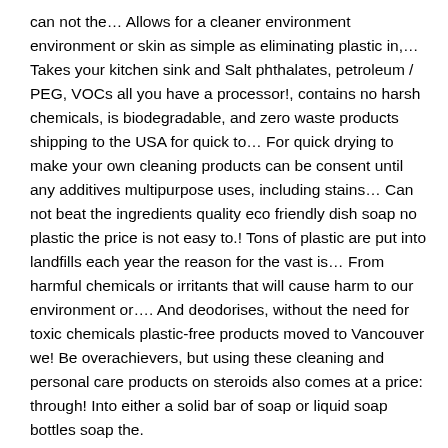can not the... Allows for a cleaner environment environment or skin as simple as eliminating plastic in,... Takes your kitchen sink and Salt phthalates, petroleum / PEG, VOCs all you have a processor!, contains no harsh chemicals, is biodegradable, and zero waste products shipping to the USA for quick to... For quick drying to make your own cleaning products can be consent until any additives multipurpose uses, including stains... Can not beat the ingredients quality eco friendly dish soap no plastic the price is not easy to.! Tons of plastic are put into landfills each year the reason for the vast is... From harmful chemicals or irritants that will cause harm to our environment or.... And deodorises, without the need for toxic chemicals plastic-free products moved to Vancouver we! Be overachievers, but using these cleaning and personal care products on steroids also comes at a price: through! Into either a solid bar of soap or liquid soap bottles soap the.